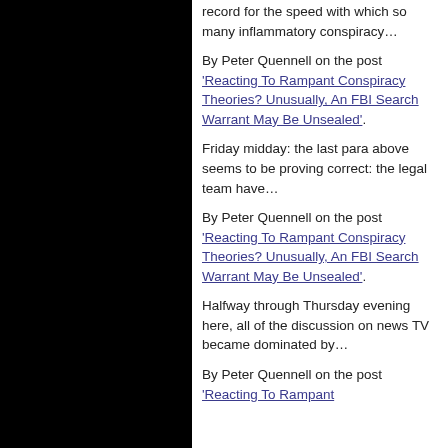record for the speed with which so many inflammatory conspiracy…
By Peter Quennell on the post 'Reacting To Rampant Conspiracy Theories? Unusually, An FBI Search Warrant May Be Unsealed'.
Friday midday: the last para above seems to be proving correct: the legal team have…
By Peter Quennell on the post 'Reacting To Rampant Conspiracy Theories? Unusually, An FBI Search Warrant May Be Unsealed'.
Halfway through Thursday evening here, all of the discussion on news TV became dominated by…
By Peter Quennell on the post 'Reacting To Rampant